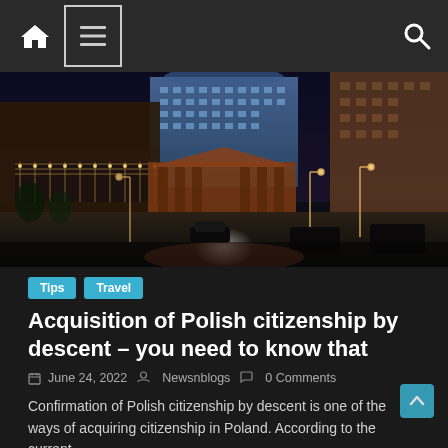Navigation bar with home icon, menu icon, and search icon
[Figure (photo): Nighttime city street scene with illuminated buildings, string lights over an outdoor area on the left, and a grand building lit in blue in the background. Warsaw street at night.]
Tips  Travel
Acquisition of Polish citizenship by descent – you need to know that
June 24, 2022  Newsnblogs  0 Comments
Confirmation of Polish citizenship by descent is one of the ways of acquiring citizenship in Poland. According to the current